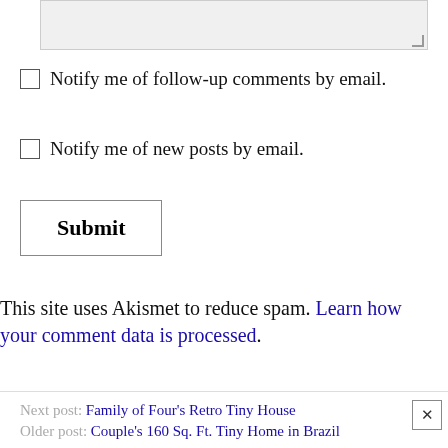[Figure (screenshot): Textarea input box with resize handle at bottom right]
Notify me of follow-up comments by email.
Notify me of new posts by email.
[Figure (screenshot): Submit button with bold text inside a bordered rectangle]
This site uses Akismet to reduce spam. Learn how your comment data is processed.
Next post: Family of Four's Retro Tiny House
Older post: Couple's 160 Sq. Ft. Tiny Home in Brazil